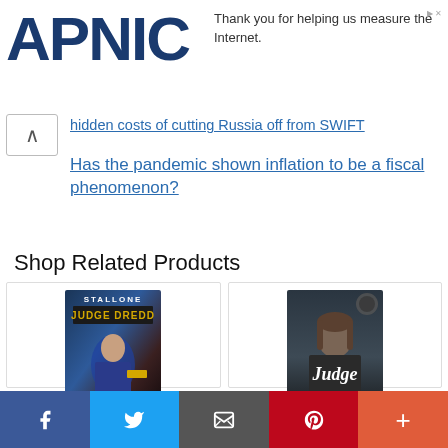APNIC
Thank you for helping us measure the Internet.
hidden costs of cutting Russia off from SWIFT
Has the pandemic shown inflation to be a fiscal phenomenon?
Shop Related Products
[Figure (photo): Product card: Judge Dredd [Blu-ray] movie cover showing Stallone as Judge Dredd with gun]
Judge Dredd [Blu-ray]
$9.99 $14.99 prime
[Figure (photo): Product card: Judge (Nameless Order MC Book 1) book cover showing a man with long hair and tattoos]
Judge (Nameless Order MC Book 1)
$2.99
f  Twitter  Email  Pinterest  +